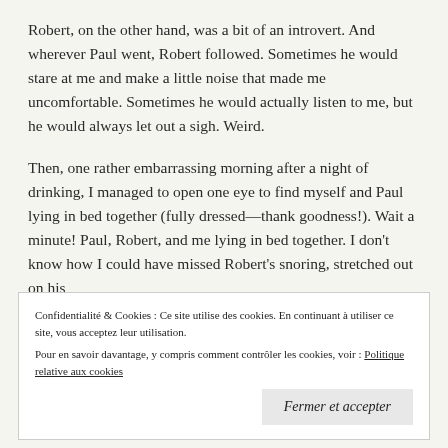Robert, on the other hand, was a bit of an introvert. And wherever Paul went, Robert followed. Sometimes he would stare at me and make a little noise that made me uncomfortable. Sometimes he would actually listen to me, but he would always let out a sigh. Weird.
Then, one rather embarrassing morning after a night of drinking, I managed to open one eye to find myself and Paul lying in bed together (fully dressed—thank goodness!). Wait a minute! Paul, Robert, and me lying in bed together. I don't know how I could have missed Robert's snoring, stretched out on his
Confidentialité & Cookies : Ce site utilise des cookies. En continuant à utiliser ce site, vous acceptez leur utilisation.
Pour en savoir davantage, y compris comment contrôler les cookies, voir : Politique relative aux cookies
Fermer et accepter
to me.